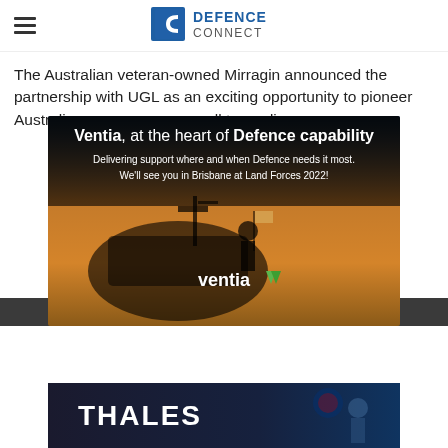Defence Connect
The Australian veteran-owned Mirragin announced the partnership with UGL as an exciting opportunity to pioneer Australian ... small to medium ...
[Figure (infographic): Ventia advertisement: 'Ventia, at the heart of Defence capability. Delivering support where and when Defence needs it most. We'll see you in Brisbane at Land Forces 2022!' with Ventia logo over a military vehicle scene at sunset.]
[Figure (infographic): Thales advertisement banner with Thales logo and soldier imagery.]